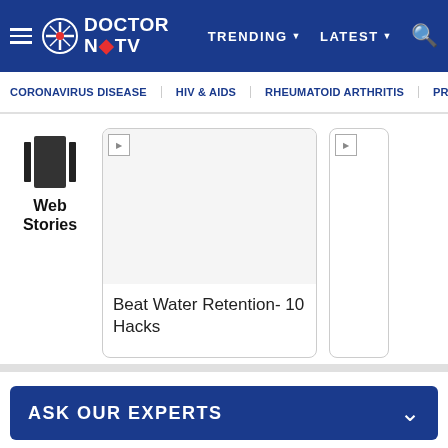Doctor NDTV — TRENDING ▼   LATEST ▼
CORONAVIRUS DISEASE | HIV & AIDS | RHEUMATOID ARTHRITIS | PR…
Web Stories
Beat Water Retention- 10 Hacks
ASK OUR EXPERTS
Home › Living Healthy › Amazon Sale 2021: Get Up To 58% Off On Best-Selling Whey Proteins